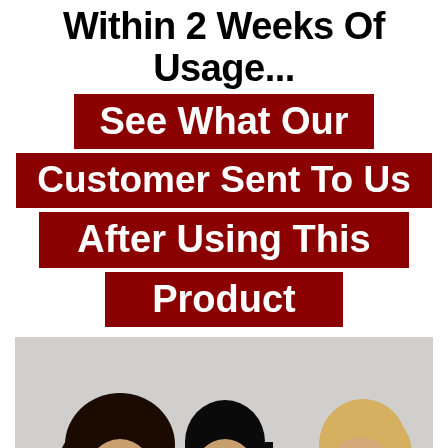Within 2 Weeks Of Usage...
See What Our Customer Sent To Us After Using This Product
[Figure (photo): Three women with different hair types smiling together against a light background]